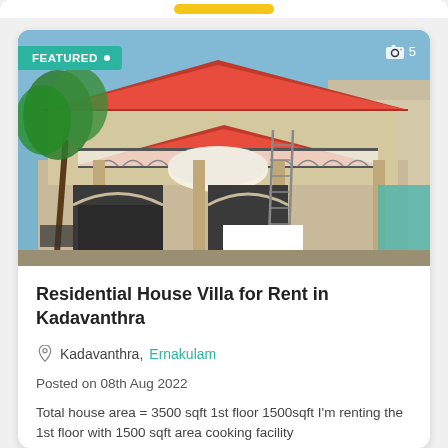[Figure (photo): Exterior photo of a two-storey residential house villa with balconies, arched windows, red tiled roof, palm tree on left, and a ladder leaning against the building. Sky visible in background.]
Residential House Villa for Rent in Kadavanthra
Kadavanthra, Ernakulam
Posted on 08th Aug 2022
Total house area = 3500 sqft 1st floor 1500sqft I'm renting the 1st floor with 1500 sqft area cooking facility